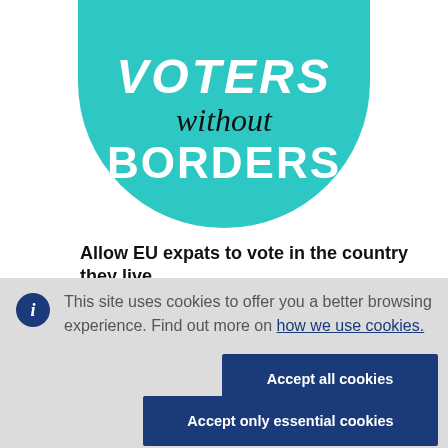[Figure (logo): Voters Without Borders logo — teal circular badge with white bold text 'VOTERS', cursive black 'without', white bold 'BORDERS']
Allow EU expats to vote in the country they live
This site uses cookies to offer you a better browsing experience. Find out more on how we use cookies.
Accept all cookies
Accept only essential cookies